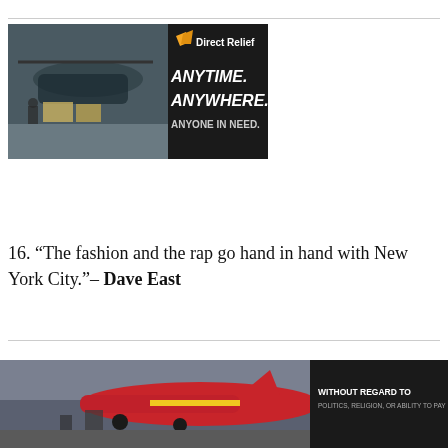[Figure (other): Direct Relief advertisement banner showing cargo being loaded onto a military helicopter. Text reads: Direct Relief logo, ANYTIME. ANYWHERE. ANYONE IN NEED.]
16. “The fashion and the rap go hand in hand with New York City.”– Dave East
17. “Growing up in Harlem, I was always in the parks
[Figure (other): Bottom advertisement banner showing a cargo aircraft being loaded. Text reads: WITHOUT REGARD TO POLITICS, RELIGION, OR ABILITY TO PAY]